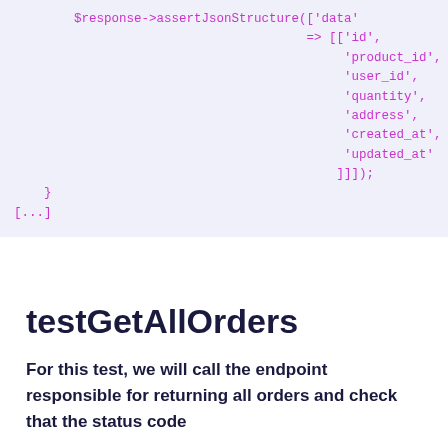[Figure (screenshot): Code snippet showing PHP test code with $response->assertJsonStructure(['data' => [['id', 'product_id', 'user_id', 'quantity', 'address', 'created_at', 'updated_at']]]) followed by closing brace and [...]]
testGetAllOrders
For this test, we will call the endpoint responsible for returning all orders and check that the status code